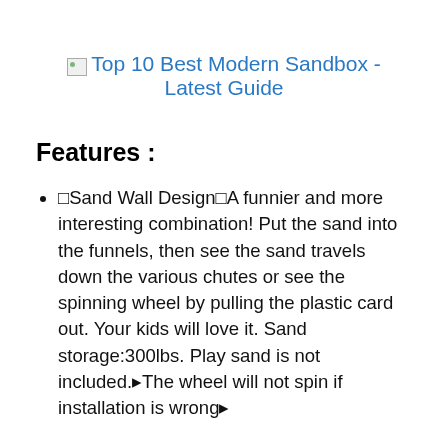Top 10 Best Modern Sandbox - Latest Guide
Features :
🔷Sand Wall Design🔷A funnier and more interesting combination! Put the sand into the funnels, then see the sand travels down the various chutes or see the spinning wheel by pulling the plastic card out. Your kids will love it. Sand storage:300lbs. Play sand is not included.🔹The wheel will not spin if installation is wrong🔹